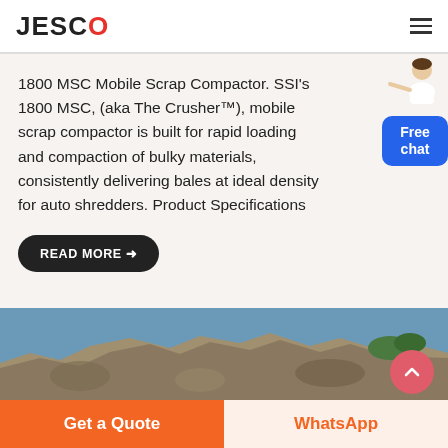JESCO
1800 MSC Mobile Scrap Compactor. SSI's 1800 MSC, (aka The Crusher™), mobile scrap compactor is built for rapid loading and compaction of bulky materials, consistently delivering bales at ideal density for auto shredders. Product Specifications
READ MORE →
[Figure (photo): Rocky quarry or mining site with blue sky background]
Get a Quote
WhatsApp